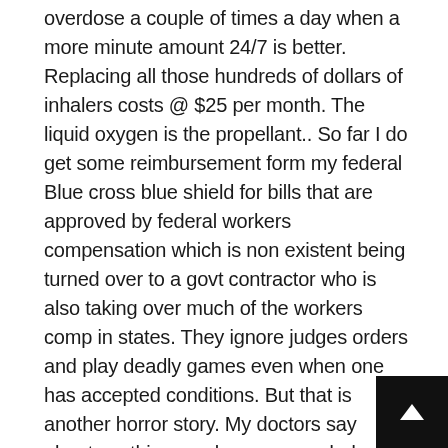overdose a couple of times a day when a more minute amount 24/7 is better. Replacing all those hundreds of dollars of inhalers costs @ $25 per month. The liquid oxygen is the propellant.. So far I do get some reimbursement form my federal Blue cross blue shield for bills that are approved by federal workers compensation which is non existent being turned over to a govt contractor who is also taking over much of the workers comp in states. They ignore judges orders and play deadly games even when one has accepted conditions. But that is another horror story. My doctors say about anything can be compounded